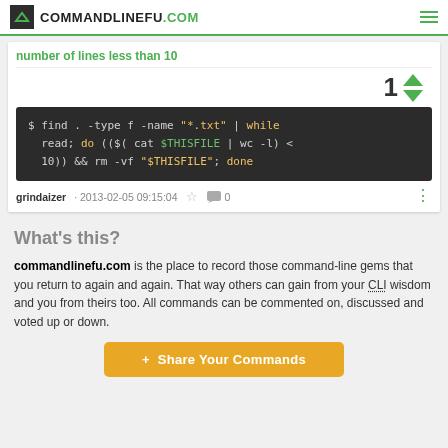COMMANDLINEFU.COM
number of lines less than 10
[Figure (other): Vote count showing 1 with up/down arrows]
[Figure (screenshot): Command line code block: $ find . -type f -name "*.txt" | while read; do (($( cat $THISFILE | wc -l) < 10)) && rm -vf "$THISFILE"; done]
grindaizer · 2013-02-05 09:15:04  0
What's this?
commandlinefu.com is the place to record those command-line gems that you return to again and again. That way others can gain from your CLI wisdom and you from theirs too. All commands can be commented on, discussed and voted up or down.
+ Share Your Commands